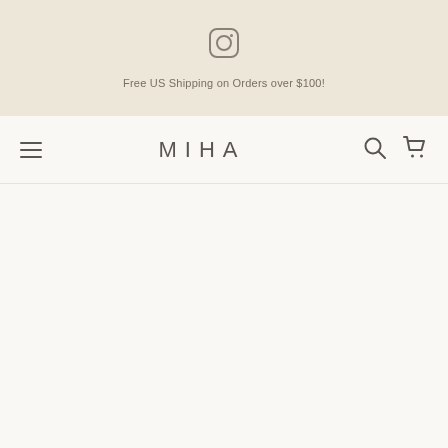[Figure (logo): Instagram icon (rounded square outline with circle inside and small dot)]
Free US Shipping on Orders over $100!
[Figure (other): Hamburger menu icon (three horizontal lines)]
MIHA
[Figure (other): Search icon (magnifying glass)]
[Figure (other): Shopping cart icon]